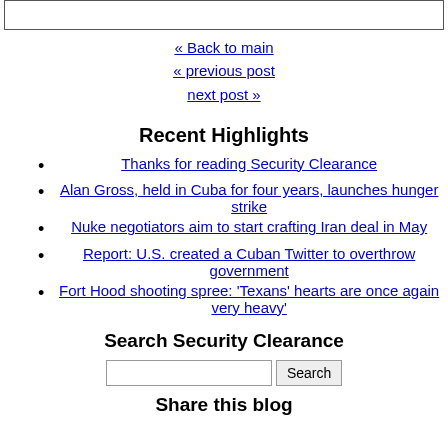[box top partial content]
« Back to main
« previous post
next post »
Recent Highlights
Thanks for reading Security Clearance
Alan Gross, held in Cuba for four years, launches hunger strike
Nuke negotiators aim to start crafting Iran deal in May
Report: U.S. created a Cuban Twitter to overthrow government
Fort Hood shooting spree: 'Texans' hearts are once again very heavy'
Search Security Clearance
[search box] Search
Share this blog